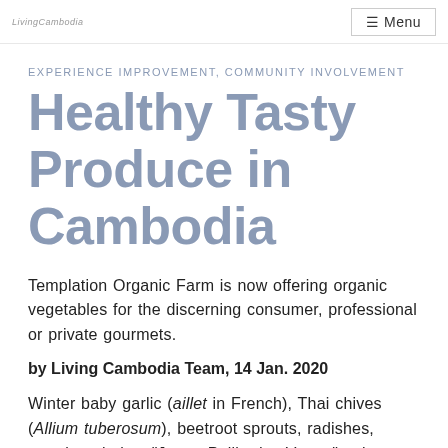LivingCambodia  ☰ Menu
EXPERIENCE IMPROVEMENT, COMMUNITY INVOLVEMENT
Healthy Tasty Produce in Cambodia
Templation Organic Farm is now offering organic vegetables for the discerning consumer, professional or private gourmets.
by Living Cambodia Team, 14 Jan. 2020
Winter baby garlic (aillet in French), Thai chives (Allium tuberosum), beetroot sprouts, radishes, morning glories, "Jaune Paille des Vertus" onions, Asian coriander, various